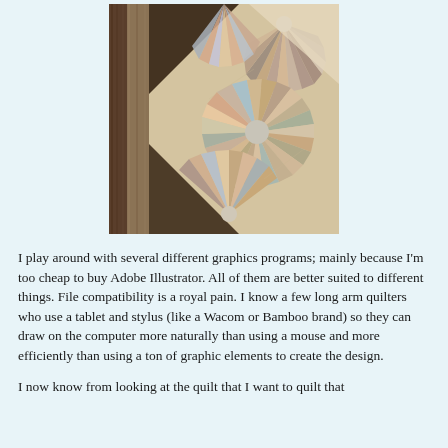[Figure (photo): A close-up photograph of a colorful quilt featuring fan/Dresden plate patterns with radiating fabric wedges in pastels, earth tones, and patterned fabrics, arranged in a geometric star-like layout on a cream background.]
I play around with several different graphics programs; mainly because I'm too cheap to buy Adobe Illustrator. All of them are better suited to different things. File compatibility is a royal pain. I know a few long arm quilters who use a tablet and stylus (like a Wacom or Bamboo brand) so they can draw on the computer more naturally than using a mouse and more efficiently than using a ton of graphic elements to create the design.
I now know from looking at the quilt that I want to quilt that